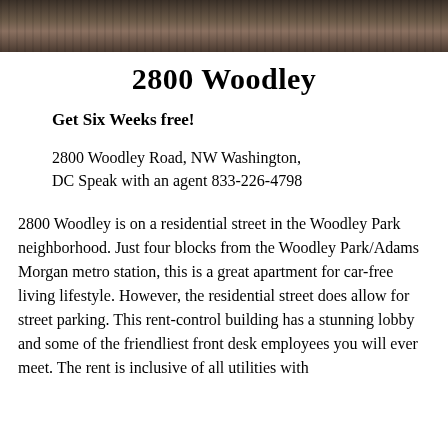[Figure (photo): Exterior or landscape photo strip at the top of the page, dark brownish tones]
2800 Woodley
Get Six Weeks free!
2800 Woodley Road, NW Washington, DC Speak with an agent 833-226-4798
2800 Woodley is on a residential street in the Woodley Park neighborhood. Just four blocks from the Woodley Park/Adams Morgan metro station, this is a great apartment for car-free living lifestyle. However, the residential street does allow for street parking. This rent-control building has a stunning lobby and some of the friendliest front desk employees you will ever meet. The rent is inclusive of all utilities with